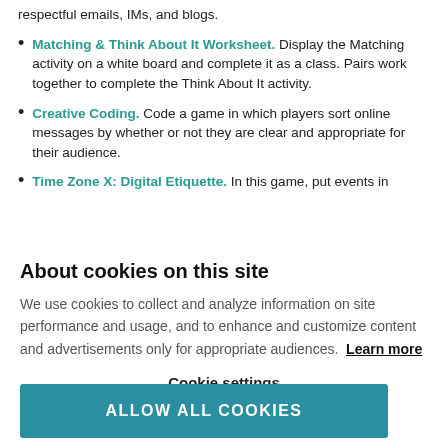respectful emails, IMs, and blogs.
Matching & Think About It Worksheet. Display the Matching activity on a white board and complete it as a class. Pairs work together to complete the Think About It activity.
Creative Coding. Code a game in which players sort online messages by whether or not they are clear and appropriate for their audience.
Time Zone X: Digital Etiquette. In this game, put events in
About cookies on this site
We use cookies to collect and analyze information on site performance and usage, and to enhance and customize content and advertisements only for appropriate audiences. Learn more
Cookie settings
ALLOW ALL COOKIES